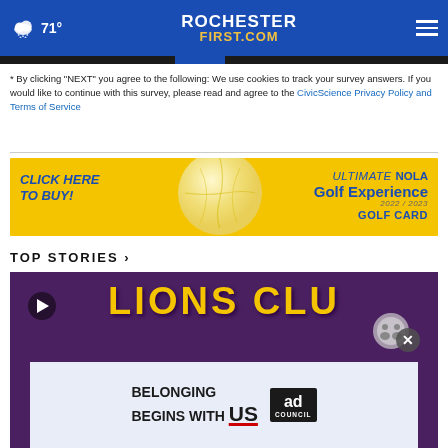71° ROCHESTERFIRST.COM
* By clicking "NEXT" you agree to the following: We use cookies to track your survey answers. If you would like to continue with this survey, please read and agree to the CivicScience Privacy Policy and Terms of Service
[Figure (infographic): Yellow advertisement banner: CLICK HERE TO BUY! ULTIMATE NOLA Golf Experience 2022/2023 GOLF CARD]
TOP STORIES ›
[Figure (screenshot): Lions Club video thumbnail on purple background with yellow text. Inner ad overlay: BELONGING BEGINS WITH US, Ad Council logo.]